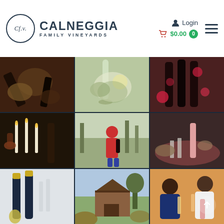Calneggia Family Vineyards — Login | $0.00 cart
[Figure (photo): 9-photo grid collage of Calneggia Family Vineyards lifestyle images: wine bottles with food, salad with wine bottle, wine bottles with rose petals, candlelit wine pouring scene, person holding wine bottle in vineyard, picnic with rose wine, sparkling wine bottles with glasses, vineyard barn exterior, two people sharing rose wine outdoors.]